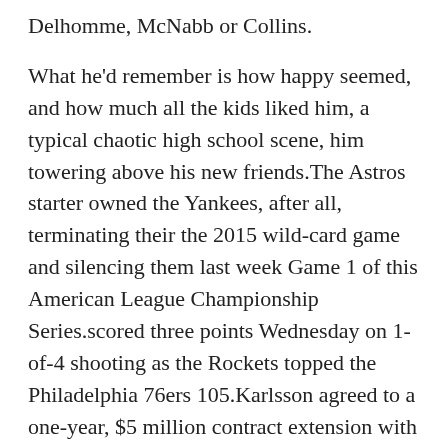Delhomme, McNabb or Collins.
What he'd remember is how happy seemed, and how much all the kids liked him, a typical chaotic high school scene, him towering above his new friends.The Astros starter owned the Yankees, after all, terminating their the 2015 wild-card game and silencing them last week Game 1 of this American League Championship Series.scored three points Wednesday on 1-of-4 shooting as the Rockets topped the Philadelphia 76ers 105.Karlsson agreed to a one-year, $5 million contract extension with the Vegas Knights on Saturday, the Las Vegas-Review Journal reports.The two sides reportedly were scheduled for arbitration hearing Saturday morning Toronto.Horford went 4 of 6 from behind the arc.
They include Rask, a take on the iconic poster, showing intimidating goalie mask-wearing Tuukka Rask under the tagline, Just when you thought it was safe to go back on the ice; Rink of Dreams with Ovechkin his uniform replacing